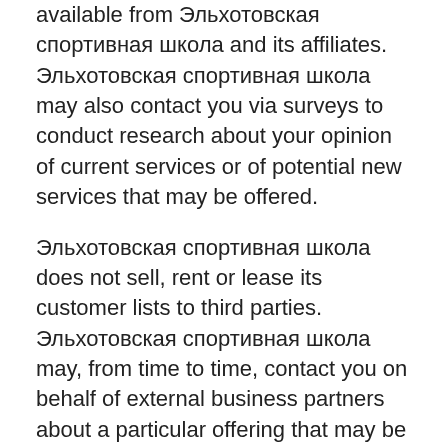available from Эльхотовская спортивная школа and its affiliates. Эльхотовская спортивная школа may also contact you via surveys to conduct research about your opinion of current services or of potential new services that may be offered.
Эльхотовская спортивная школа does not sell, rent or lease its customer lists to third parties. Эльхотовская спортивная школа may, from time to time, contact you on behalf of external business partners about a particular offering that may be of interest to you. In those cases, your unique personally identifiable information (e-mail, name, address, telephone number) is not transferred to the third party. In addition